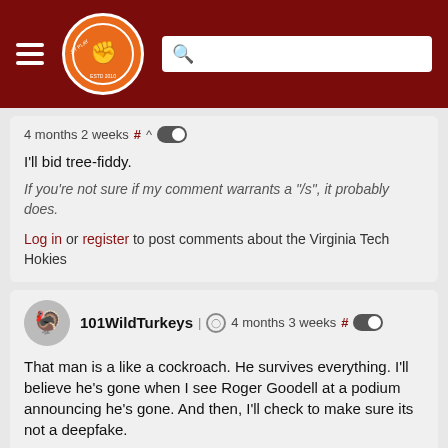The Key Play - site header with logo and search bar
4 months 2 weeks # ^
I'll bid tree-fiddy.
If you're not sure if my comment warrants a "/s", it probably does.
Log in or register to post comments about the Virginia Tech Hokies
101WildTurkeys | 4 months 3 weeks #
That man is a like a cockroach. He survives everything. I'll believe he's gone when I see Roger Goodell at a podium announcing he's gone. And then, I'll check to make sure its not a deepfake.
Log in or register to post comments about the Virginia Tech